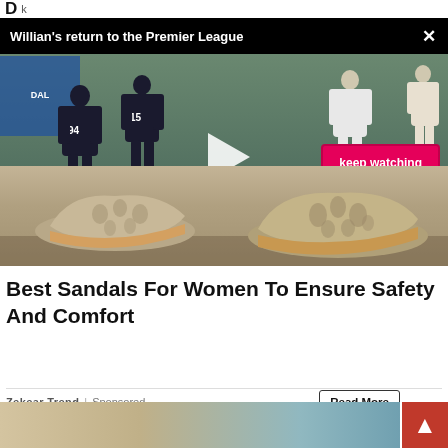D... | K...
[Figure (screenshot): Video overlay showing soccer match with title 'Willian's return to the Premier League', play button, 'keep watching' pink button, and caption text 'Former Chelsea and Arsenal player has returned to the Premier League']
[Figure (photo): Close-up photo of grey perforated flat women's sandals/shoes on a stone surface]
Best Sandals For Women To Ensure Safety And Comfort
Zekear Trend | Sponsored
Read More
[Figure (photo): Partial bottom image strip showing outdoor stone/water scene]